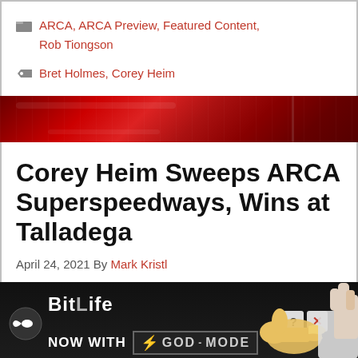ARCA, ARCA Preview, Featured Content, Rob Tiongson
Bret Holmes, Corey Heim
[Figure (photo): Red racing banner/header image with race track imagery]
Corey Heim Sweeps ARCA Superspeedways, Wins at Talladega
April 24, 2021 By Mark Kristl
[Figure (advertisement): BitLife app advertisement - Now with God Mode, showing thumbs up hand pointing]